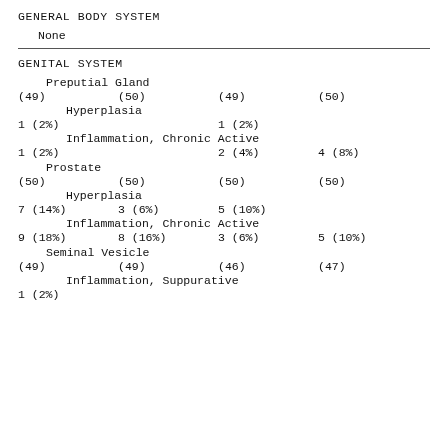GENERAL BODY SYSTEM
None
GENITAL SYSTEM
Preputial Gland
(49)          (50)          (49)          (50)
Hyperplasia
1 (2%)                    1 (2%)
Inflammation, Chronic Active
1 (2%)                    2 (4%)        4 (8%)
Prostate
(50)          (50)          (50)          (50)
Hyperplasia
7 (14%)       3 (6%)        5 (10%)
Inflammation, Chronic Active
9 (18%)       8 (16%)       3 (6%)        5 (10%)
Seminal Vesicle
(49)          (49)          (46)          (47)
Inflammation, Suppurative
1 (2%)